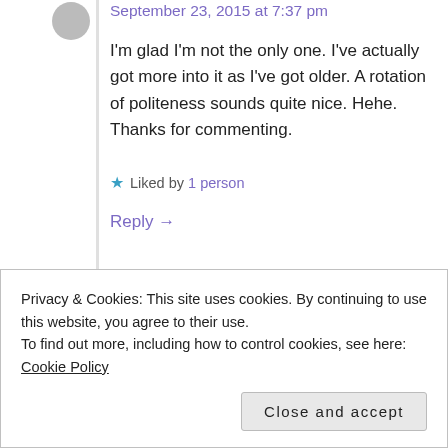September 23, 2015 at 7:37 pm
I'm glad I'm not the only one. I've actually got more into it as I've got older. A rotation of politeness sounds quite nice. Hehe. Thanks for commenting.
★ Liked by 1 person
Reply →
Privacy & Cookies: This site uses cookies. By continuing to use this website, you agree to their use.
To find out more, including how to control cookies, see here: Cookie Policy
Close and accept